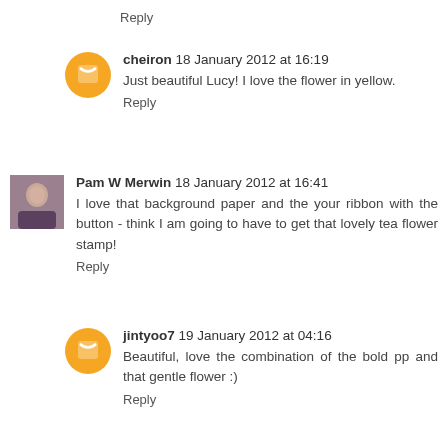Reply
cheiron  18 January 2012 at 16:19
Just beautiful Lucy! I love the flower in yellow.
Reply
Pam W Merwin  18 January 2012 at 16:41
I love that background paper and the your ribbon with the button - think I am going to have to get that lovely tea flower stamp!
Reply
jintyoo7  19 January 2012 at 04:16
Beautiful, love the combination of the bold pp and that gentle flower :)
Reply